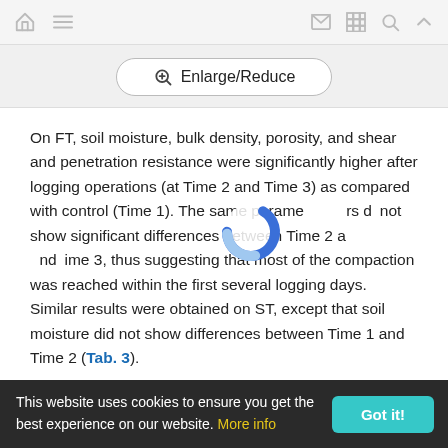Navigation bar with home, menu, mail, grid, search, and up icons
[Figure (screenshot): Enlarge/Reduce button with magnifying glass icon]
On FT, soil moisture, bulk density, porosity, and shear and penetration resistance were significantly higher after logging operations (at Time 2 and Time 3) as compared with control (Time 1). The same parameters did not show significant differences between Time 2 and Time 3, thus suggesting that most of the compaction was reached within the first several logging days. Similar results were obtained on ST, except that soil moisture did not show differences between Time 1 and Time 2 (Tab. 3).
This website uses cookies to ensure you get the best experience on our website. More info  Got it!